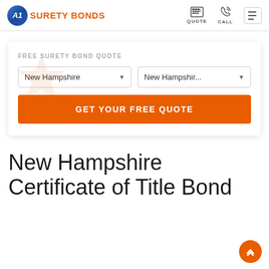A1 Surety Bonds — QUOTE CALL navigation header
FREE SURETY BOND QUOTE
New Hampshire | New Hampshir...
GET YOUR FREE QUOTE
New Hampshire Certificate of Title Bond